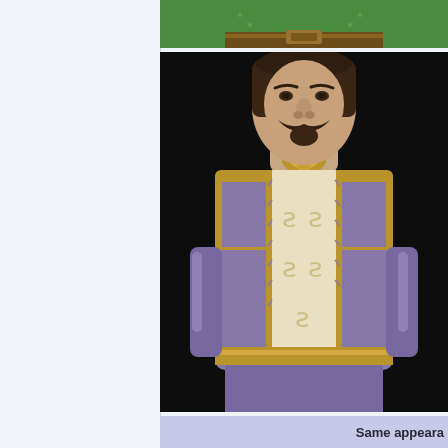[Figure (screenshot): Top portion of a green-clothed character/figure from a video game, cropped to show torso area with green tunic and belt against black background]
[Figure (screenshot): 3D rendered male character from a video game with dark hair and mustache, wearing ornate medieval-style armor/doublet in purple, cream/yellow, and gold colors against a black background]
Same appeara